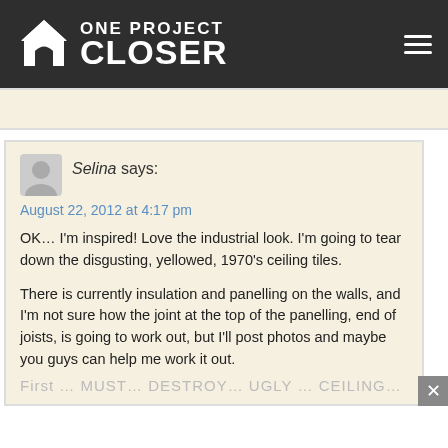[Figure (logo): One Project Closer logo — house icon with arch doorway on dark background, with hamburger menu icon on right]
Selina says:
August 22, 2012 at 4:17 pm

OK... I'm inspired! Love the industrial look. I'm going to tear down the disgusting, yellowed, 1970's ceiling tiles.

There is currently insulation and panelling on the walls, and I'm not sure how the joint at the top of the panelling, end of joists, is going to work out, but I'll post photos and maybe you guys can help me work it out.

First ... MUST... DESTROY... UGLY ... CEILING...